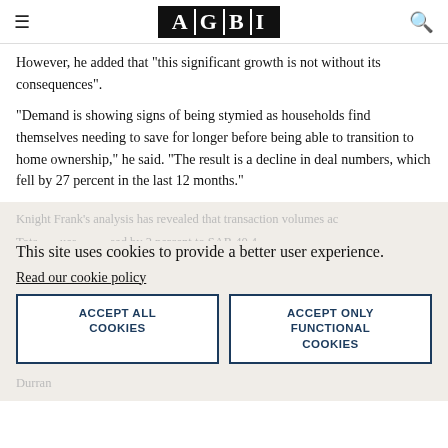AGBI
However, he added that "this significant growth is not without its consequences".
“Demand is showing signs of being stymied as households find themselves needing to save for longer before being able to transition to home ownership,” he said. “The result is a decline in deal numbers, which fell by 27 percent in the last 12 months.”
Knight Frank’s analysis has revealed that transaction volumes ac... Total values increased by 2 percent to SAR 40.4 billion (£8.5 billion), reflecting the price growth being experi... Durran...
This site uses cookies to provide a better user experience. Read our cookie policy
ACCEPT ALL COOKIES
ACCEPT ONLY FUNCTIONAL COOKIES